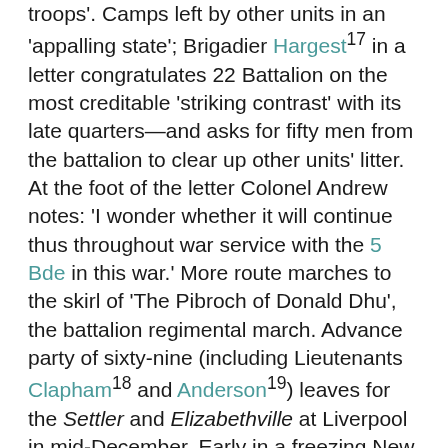troops'. Camps left by other units in an 'appalling state'; Brigadier Hargest17 in a letter congratulates 22 Battalion on the most creditable 'striking contrast' with its late quarters—and asks for fifty men from the battalion to clear up other units' litter. At the foot of the letter Colonel Andrew notes: 'I wonder whether it will continue thus throughout war service with the 5 Bde in this war.' More route marches to the skirl of 'The Pibroch of Donald Dhu', the battalion regimental march. Advance party of sixty-nine (including Lieutenants Clapham18 and Anderson19) leaves for the Settler and Elizabethville at Liverpool in mid-December. Early in a freezing New Year the battalion sails from Newport, Wales, in the 'Drunken Duchess' (or Duchess of Bedford), and reaches Egypt